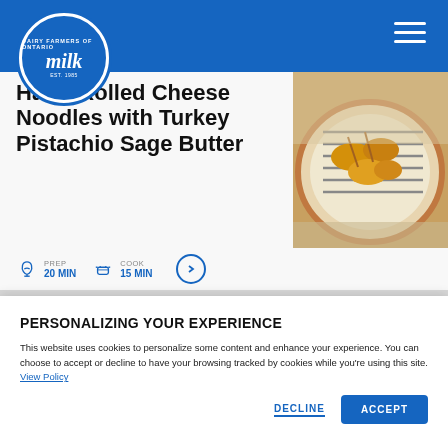Dairy Farmers of Ontario - milk logo and navigation
Hand-Rolled Cheese Noodles with Turkey Pistachio Sage Butter
PREP 20 MIN   COOK 15 MIN
[Figure (photo): Food photo showing cooked cheese noodles on a round plate on a grill]
PERSONALIZING YOUR EXPERIENCE
This website uses cookies to personalize some content and enhance your experience. You can choose to accept or decline to have your browsing tracked by cookies while you're using this site. View Policy
DECLINE   ACCEPT